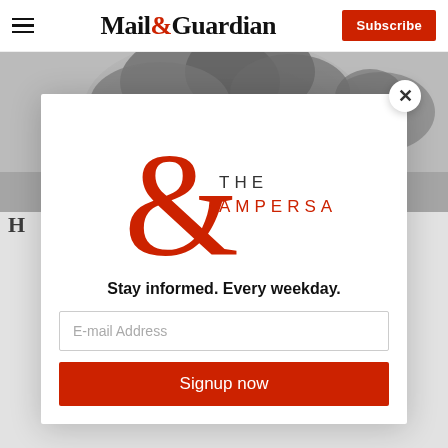Mail&Guardian | Subscribe
[Figure (photo): Large smoke cloud explosion photograph used as hero/banner image]
[Figure (logo): The Ampersand newsletter logo with red ampersand symbol and THE AMPERSAND text]
Stay informed. Every weekday.
E-mail Address
Signup now